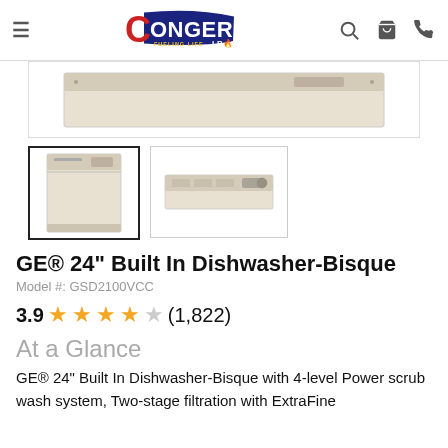Conger LP Gas — Fueling Life
[Figure (photo): Main product image: front panel/door of GE dishwasher in bisque color, cropped close-up view]
[Figure (photo): Thumbnail 1: full front view of GE 24-inch built-in dishwasher in bisque color]
[Figure (photo): Thumbnail 2: close-up front panel/control area of GE dishwasher in bisque color]
GE® 24" Built In Dishwasher-Bisque
Model #: GSD2100VCC
3.9 ★★★★☆ (1,822)
At a Glance
GE® 24" Built In Dishwasher-Bisque with 4-level Power scrub wash system, Two-stage filtration with ExtraFine